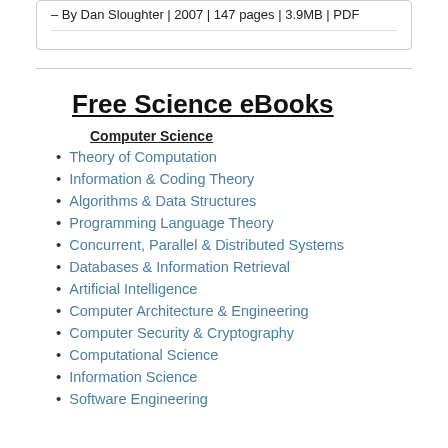- By Dan Sloughter | 2007 | 147 pages | 3.9MB | PDF
Free Science eBooks
Computer Science
Theory of Computation
Information & Coding Theory
Algorithms & Data Structures
Programming Language Theory
Concurrent, Parallel & Distributed Systems
Databases & Information Retrieval
Artificial Intelligence
Computer Architecture & Engineering
Computer Security & Cryptography
Computational Science
Information Science
Software Engineering